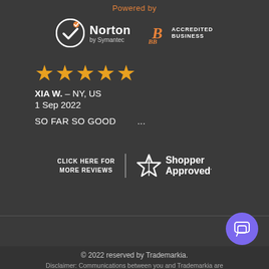Powered by
[Figure (logo): Norton by Symantec logo with checkmark circle icon]
[Figure (logo): BBB Accredited Business logo]
[Figure (other): 5 orange star rating icons]
XIA W.  – NY, US
1 Sep 2022
SO FAR SO GOOD         ...
[Figure (logo): Shopper Approved logo with star icon]
CLICK HERE FOR MORE REVIEWS
© 2022 reserved by Trademarkia.
Disclaimer: Communications between you and Trademarkia are